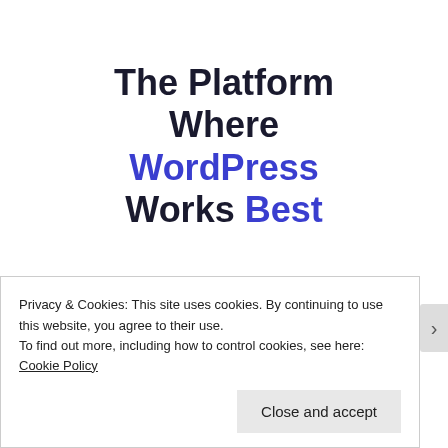The Platform Where WordPress Works Best
SEE PRICING
Privacy & Cookies: This site uses cookies. By continuing to use this website, you agree to their use.
To find out more, including how to control cookies, see here: Cookie Policy
Close and accept